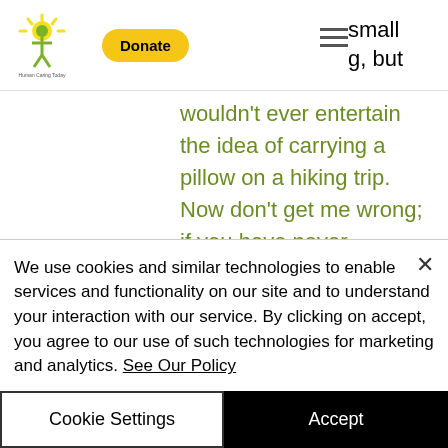Donate | small g, but
wouldn't ever entertain the idea of carrying a pillow on a hiking trip. Now don't get me wrong; if you have never canoed/kayaked before, or have very little experience in these types of watercrafts, please do not just jump straight into this! This is the land of 10,000 lakes – there are plenty of opportunities for practice before your adventure. This also means there are plenty of opportunities for this
We use cookies and similar technologies to enable services and functionality on our site and to understand your interaction with our service. By clicking on accept, you agree to our use of such technologies for marketing and analytics. See Our Policy
Cookie Settings
Accept